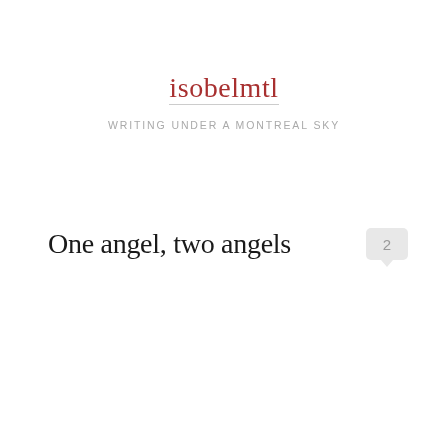isobelmtl
WRITING UNDER A MONTREAL SKY
One angel, two angels
2